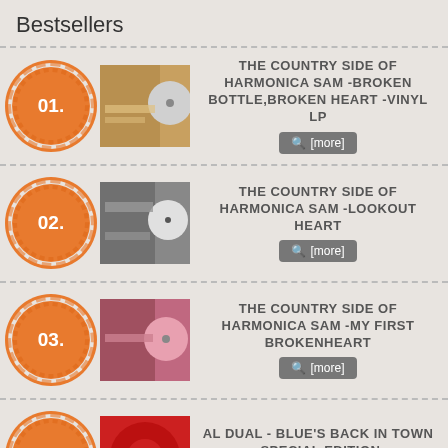Bestsellers
01. THE COUNTRY SIDE OF HARMONICA SAM -BROKEN BOTTLE,BROKEN HEART -VINYL LP
02. THE COUNTRY SIDE OF HARMONICA SAM -LOOKOUT HEART
03. THE COUNTRY SIDE OF HARMONICA SAM -MY FIRST BROKENHEART
04. AL DUAL - BLUE'S BACK IN TOWN -SPECIAL EDITION